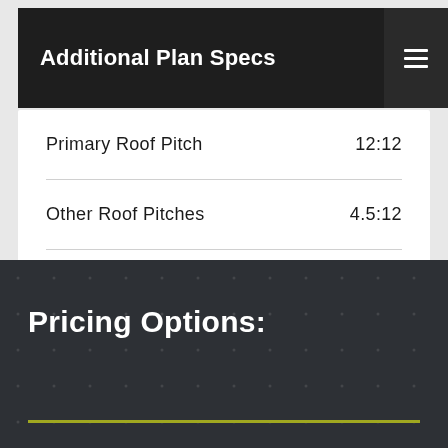Additional Plan Specs
| Specification | Value |
| --- | --- |
| Primary Roof Pitch | 12:12 |
| Other Roof Pitches | 4.5:12 |
| Roof Peak Height | 24-7 |
Pricing Options: